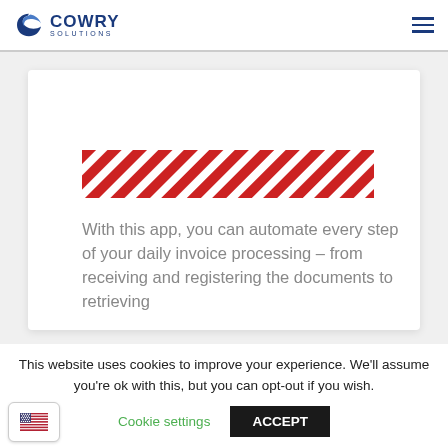COWRY SOLUTIONS
[Figure (illustration): Red and white diagonal hatching / striped pattern rectangle, representing a redacted or placeholder image area]
With this app, you can automate every step of your daily invoice processing – from receiving and registering the documents to retrieving
This website uses cookies to improve your experience. We'll assume you're ok with this, but you can opt-out if you wish.
Cookie settings  ACCEPT